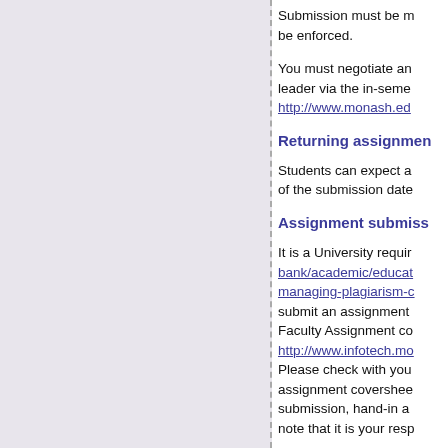Submission must be made by the due date or penalties will be enforced.
You must negotiate any extensions with the unit/subject leader via the in-semester application process at http://www.monash.edu...
Returning assignments
Students can expect assignments to be returned within 3 weeks of the submission date.
Assignment submission
It is a University requirement ... bank/academic/educat... managing-plagiarism-c... submit an assignment ... Faculty Assignment co... http://www.infotech.mo... Please check with you... assignment coversheet... submission, hand-in a... note that it is your resp...